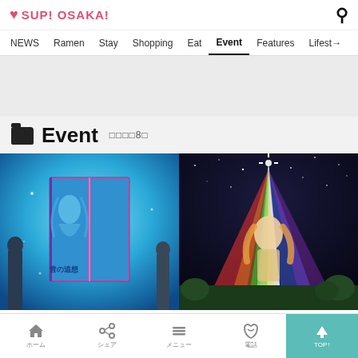SUP! OSAKA!
NEWS | Ramen | Stay | Shopping | Eat | Event | Features | Lifestyle
Event 記事8件
[Figure (photo): Two people looking at a large illuminated book display with blue water-themed art and Japanese text 昔の追想]
[Figure (photo): Colorful light art installation against a night sky with rainbow beams and an animated figure]
HOME | シェア | メニュー | 電話 | TOP